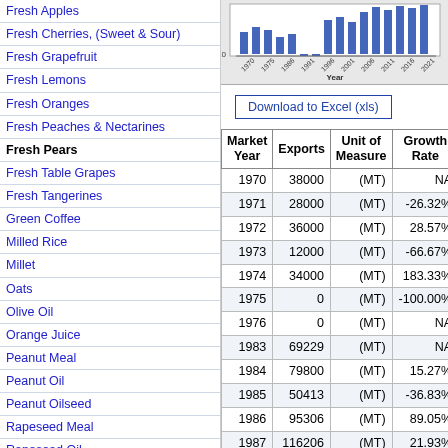Fresh Apples
Fresh Cherries, (Sweet & Sour)
Fresh Grapefruit
Fresh Lemons
Fresh Oranges
Fresh Peaches & Nectarines
Fresh Pears
Fresh Table Grapes
Fresh Tangerines
Green Coffee
Milled Rice
Millet
Oats
Olive Oil
Orange Juice
Peanut Meal
Peanut Oil
Peanut Oilseed
Rapeseed Meal
Rapeseed Oil
Rapeseed Oilseed
Rye
Sorghum
Soybean (Local) Meal
Soybean (Local) Oil
[Figure (bar-chart): Bar chart showing exports over years 1970-2021, with Year label on x-axis]
Download to Excel (xls)
| Market Year | Exports | Unit of Measure | Growth Rate |
| --- | --- | --- | --- |
| 1970 | 38000 | (MT) | NA |
| 1971 | 28000 | (MT) | -26.32% |
| 1972 | 36000 | (MT) | 28.57% |
| 1973 | 12000 | (MT) | -66.67% |
| 1974 | 34000 | (MT) | 183.33% |
| 1975 | 0 | (MT) | -100.00% |
| 1976 | 0 | (MT) | NA |
| 1983 | 69229 | (MT) | NA |
| 1984 | 79800 | (MT) | 15.27% |
| 1985 | 50413 | (MT) | -36.83% |
| 1986 | 95306 | (MT) | 89.05% |
| 1987 | 116206 | (MT) | 21.93% |
| 1988 | 134383 | (MT) | 15.64% |